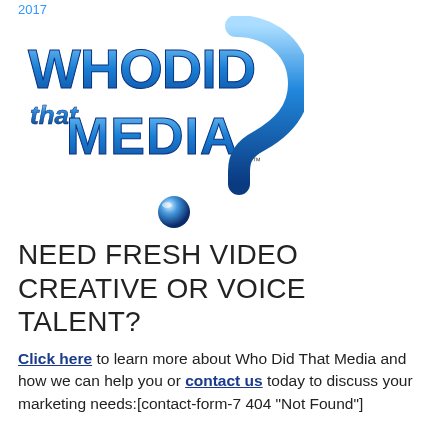2017
[Figure (logo): Who Did That Media logo — bold blue 3D text reading 'WHODID that MEDIA' with a blue question mark and a blue metallic dot beneath it, trademark symbol visible]
NEED FRESH VIDEO CREATIVE OR VOICE TALENT?
Click here to learn more about Who Did That Media and how we can help you or contact us today to discuss your marketing needs:[contact-form-7 404 "Not Found"]